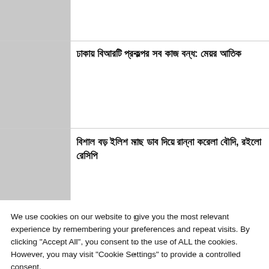[Figure (photo): Thumbnail image placeholder (gray rectangle) for first article]
[Figure (photo): Thumbnail image placeholder (gray rectangle) for second article]
ঢাকায় বিআরটি প্রকল্পর সব কাজ বন্ধ: মেয়র আতিক
[Figure (photo): Thumbnail image placeholder (gray rectangle) for third article]
বিশাল বড় ইলিশ মাছ ডাব দিয়ে রান্না করেলা বৌদি, রইলো রেসিপি
We use cookies on our website to give you the most relevant experience by remembering your preferences and repeat visits. By clicking "Accept All", you consent to the use of ALL the cookies. However, you may visit "Cookie Settings" to provide a controlled consent.